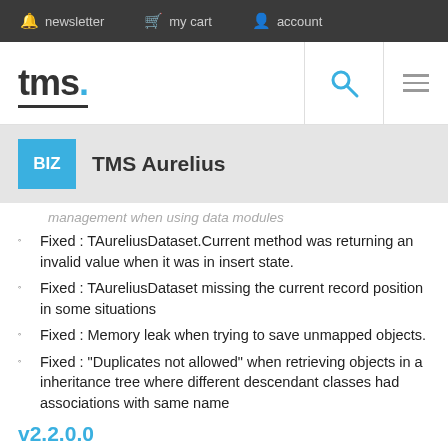newsletter   my cart   account
[Figure (logo): tms. logo with blue dot and underline]
BIZ   TMS Aurelius
management when using data modules
Fixed : TAureliusDataset.Current method was returning an invalid value when it was in insert state.
Fixed : TAureliusDataset missing the current record position in some situations
Fixed : Memory leak when trying to save unmapped objects.
Fixed : "Duplicates not allowed" when retrieving objects in a inheritance tree where different descendant classes had associations with same name
v2.2.0.0
New : TCriteria.AutoDestroy property allows keeping TCriteria in memory after objects are retrieved
New : RAD Studio XE5 support